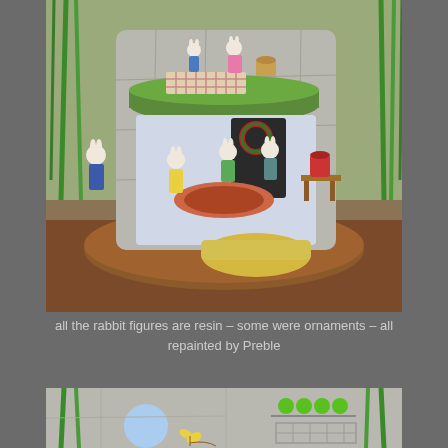[Figure (photo): A decorative resin rabbit village scene displayed on a round wooden base. The piece shows multiple rabbit figurines in different scenes: upper level has two rabbits having a picnic on a green grass ledge with a checkered blanket and picnic basket; lower level shows several rabbit figurines inside what appears to be a home interior with a fireplace, rugs, and furniture. Additional rabbits are positioned on the outside of the structure. Green plant stems are visible on the left and right sides of the photo.]
all the rabbit figures are resin – some were ornaments – all repainted by Preble
[Figure (photo): A close-up photo of another section of the rabbit figurine display, showing a light gray stone-textured structure. Visible elements include a blue circular shape (possibly a mirror or window), green round beads or balls arranged in a row on a shelf, netting or mesh material, and a small yellow butterfly or insect figure. Green plant stems are visible on the sides.]